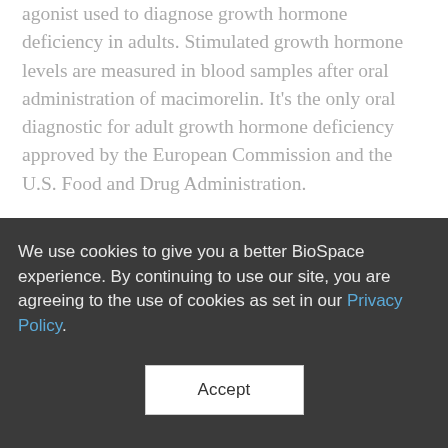agonist used to diagnose growth hormone deficiency in adults. Stimulated growth hormone levels are measured in blood samples after oral administration of macimorelin. It's the only oral diagnostic for adult growth hormone deficiency approved by the European Commission and the U.S. Food and Drug Administration.
XORTX: Calgary-based XORTX received Small and Medium Enterprise (SME) status in the European Union. SME status provides reduced costs to the
We use cookies to give you a better BioSpace experience. By continuing to use our site, you are agreeing to the use of cookies as set in our Privacy Policy.
Accept